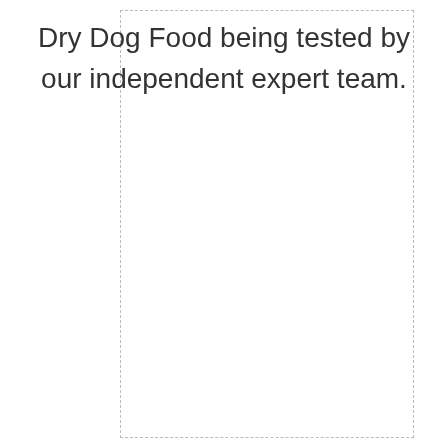Dry Dog Food being tested by our independent expert team.